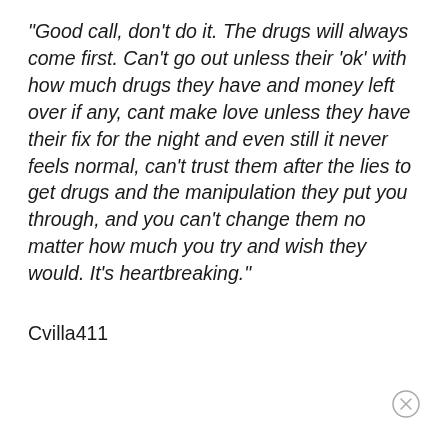"Good call, don't do it. The drugs will always come first. Can't go out unless their 'ok' with how much drugs they have and money left over if any, cant make love unless they have their fix for the night and even still it never feels normal, can't trust them after the lies to get drugs and the manipulation they put you through, and you can't change them no matter how much you try and wish they would. It's heartbreaking."
Cvilla411